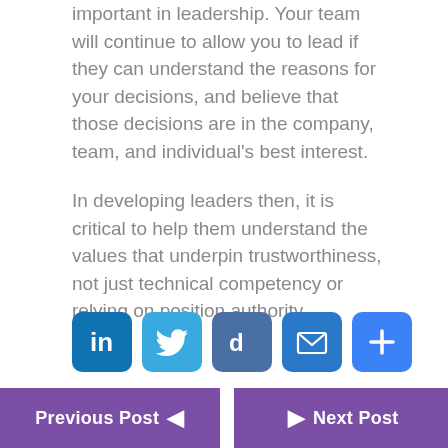important in leadership. Your team will continue to allow you to lead if they can understand the reasons for your decisions, and believe that those decisions are in the company, team, and individual's best interest.
In developing leaders then, it is critical to help them understand the values that underpin trustworthiness, not just technical competency or relying on position authority.
[Figure (infographic): Row of five social media sharing icons: LinkedIn (dark blue), Twitter (light blue), Diigo (slate blue), Email (blue envelope), and a plus/share button (bright blue), each in a rounded square.]
Previous Post   ◄   |   ►   Next Post